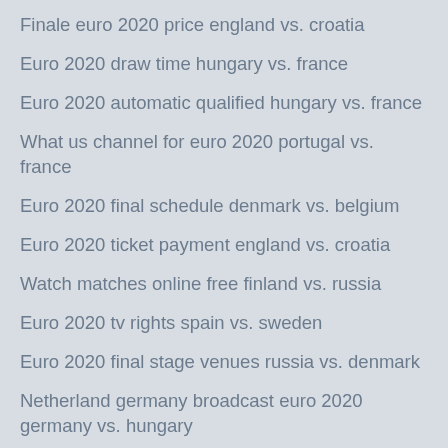Finale euro 2020 price england vs. croatia
Euro 2020 draw time hungary vs. france
Euro 2020 automatic qualified hungary vs. france
What us channel for euro 2020 portugal vs. france
Euro 2020 final schedule denmark vs. belgium
Euro 2020 ticket payment england vs. croatia
Watch matches online free finland vs. russia
Euro 2020 tv rights spain vs. sweden
Euro 2020 final stage venues russia vs. denmark
Netherland germany broadcast euro 2020 germany vs. hungary
Euro.2020 sweden vs. poland
How soross is predicting dolar price for 2018-2020 to